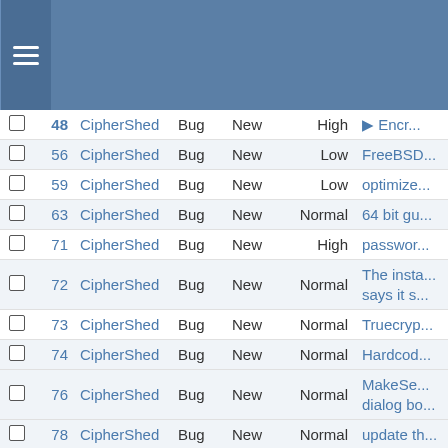CipherShed bug tracker header with menu
|  | # | Project | Type | Status | Priority | Summary |
| --- | --- | --- | --- | --- | --- | --- |
|  | 48 | CipherShed | Bug | New | High | ▶ Encr... |
|  | 56 | CipherShed | Bug | New | Low | FreeBSD... |
|  | 59 | CipherShed | Bug | New | Low | optimize... |
|  | 63 | CipherShed | Bug | New | Normal | 64 bit gu... |
|  | 71 | CipherShed | Bug | New | High | passwor... |
|  | 72 | CipherShed | Bug | New | Normal | The insta... says it s... |
|  | 73 | CipherShed | Bug | New | Normal | Truecryp... |
|  | 74 | CipherShed | Bug | New | Normal | Hardcod... |
|  | 76 | CipherShed | Bug | New | Normal | MakeSe... dialog bo... |
|  | 78 | CipherShed | Bug | New | Normal | update th... |
|  | 80 | CipherShed | Bug | New | Low | TEST CA... |
|  | 83 | CipherShed | Bug | New | Normal | deduplic... |
|  | 84 | CipherShed | Bug | New | Normal | wcsncpy... |
|  | 85 | CipherShed | Bug | New | Normal | Dlgcode... |
|  | 88 | CipherShed | Bug | New | Normal | smart ca... |
|  | 94 | CipherShed | Bug | New | High | CipherSh... Protecte... class #3... |
|  | 95 | CipherShed | Bug | New | Normal | Platf... |